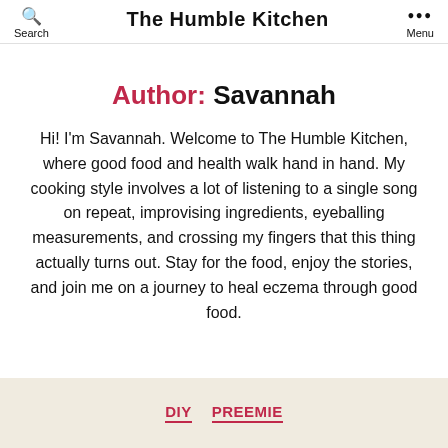The Humble Kitchen
Author: Savannah
Hi! I'm Savannah. Welcome to The Humble Kitchen, where good food and health walk hand in hand. My cooking style involves a lot of listening to a single song on repeat, improvising ingredients, eyeballing measurements, and crossing my fingers that this thing actually turns out. Stay for the food, enjoy the stories, and join me on a journey to heal eczema through good food.
DIY  PREEMIE